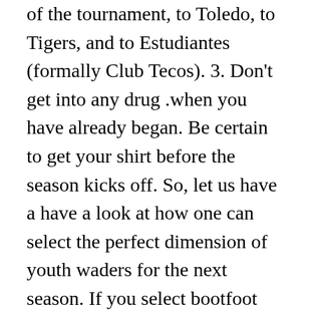of the tournament, to Toledo, to Tigers, and to Estudiantes (formally Club Tecos). 3. Don't get into any drug .when you have already began. Be certain to get your shirt before the season kicks off. So, let us have a have a look at how one can select the perfect dimension of youth waders for the next season. If you select bootfoot waders, it's advisable that it's best to go by the boot's dimension. This is very important so that you can know when you could have gotten your excellent size of youth waders, and also you need to begin sporting it. What Size Shoes Do 2-three Year Olds Wear? Here's a motive it's essential guantee that breathable waders significantly should correctly match you; if breathable waders rub again and forth on one another, they will wear easily. In most cases